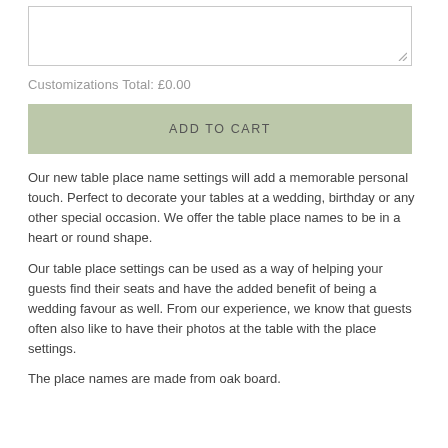Customizations Total: £0.00
ADD TO CART
Our new table place name settings will add a memorable personal touch. Perfect to decorate your tables at a wedding, birthday or any other special occasion. We offer the table place names to be in a heart or round shape.
Our table place settings can be used as a way of helping your guests find their seats and have the added benefit of being a wedding favour as well. From our experience, we know that guests often also like to have their photos at the table with the place settings.
The place names are made from oak board.